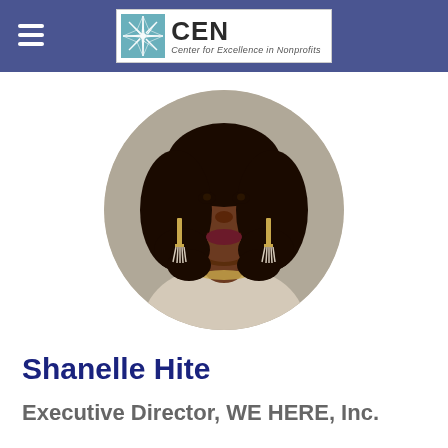CEN — Center for Excellence in Nonprofits
[Figure (photo): Circular headshot photo of Shanelle Hite, a woman with shoulder-length curly dark hair, wearing gold tassel earrings and a light-colored top, smiling at the camera.]
Shanelle Hite
Executive Director, WE HERE, Inc.